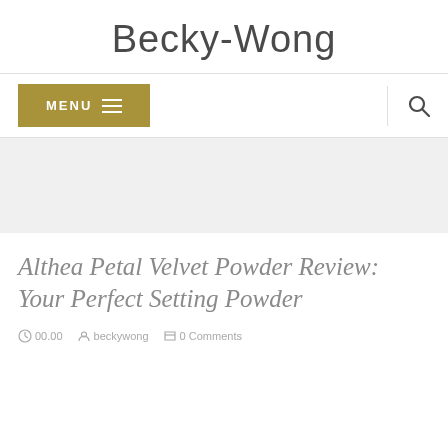Becky-Wong
[Figure (screenshot): Navigation bar with gold MENU button and hamburger icon on left, search icon on right]
[Figure (other): Gray advertisement banner area]
Althea Petal Velvet Powder Review: Your Perfect Setting Powder